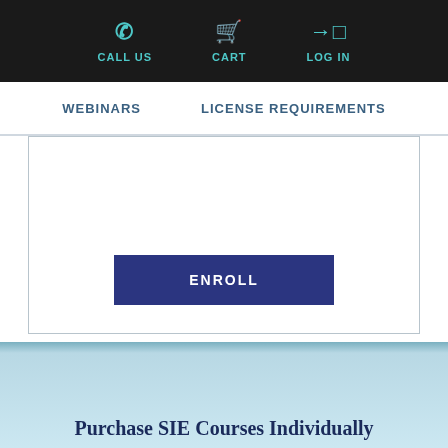CALL US  CART  LOG IN
WEBINARS  LICENSE REQUIREMENTS
[Figure (other): White content area with border containing an ENROLL button]
Purchase SIE Courses Individually